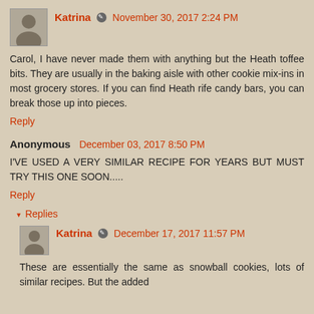Katrina · November 30, 2017 2:24 PM
Carol, I have never made them with anything but the Heath toffee bits. They are usually in the baking aisle with other cookie mix-ins in most grocery stores. If you can find Heath rife candy bars, you can break those up into pieces.
Reply
Anonymous December 03, 2017 8:50 PM
I'VE USED A VERY SIMILAR RECIPE FOR YEARS BUT MUST TRY THIS ONE SOON.....
Reply
▾ Replies
Katrina · December 17, 2017 11:57 PM
These are essentially the same as snowball cookies, lots of similar recipes. But the added